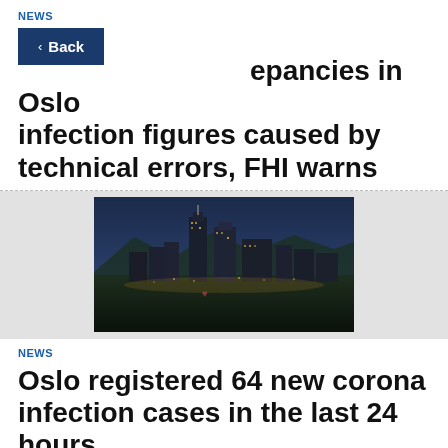NEWS
epancies in Oslo infection figures caused by technical errors, FHI warns
[Figure (photo): Aerial night view of Oslo city skyline with buildings and mountains in background]
NEWS
Oslo registered 64 new corona infection cases in the last 24 hours